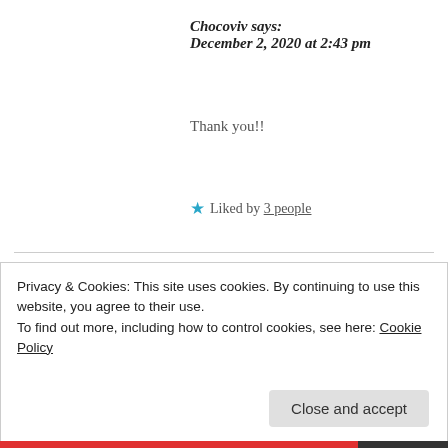Chocoviv says: December 2, 2020 at 2:43 pm
Thank you!!
★ Liked by 3 people
coolcatlover808 says: December 2, 2020 at 3:04 pm
Privacy & Cookies: This site uses cookies. By continuing to use this website, you agree to their use. To find out more, including how to control cookies, see here: Cookie Policy
Close and accept